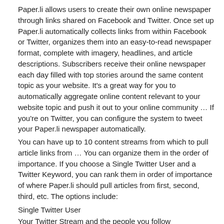Paper.li allows users to create their own online newspaper through links shared on Facebook and Twitter. Once set up Paper.li automatically collects links from within Facebook or Twitter, organizes them into an easy-to-read newspaper format, complete with imagery, headlines, and article descriptions. Subscribers receive their online newspaper each day filled with top stories around the same content topic as your website. It’s a great way for you to automatically aggregate online content relevant to your website topic and push it out to your online community … If you’re on Twitter, you can configure the system to tweet your Paper.li newspaper automatically.
You can have up to 10 content streams from which to pull article links from … You can organize them in the order of importance. If you choose a Single Twitter User and a Twitter Keyword, you can rank them in order of importance of where Paper.li should pull articles from first, second, third, etc. The options include:
Single Twitter User
Your Twitter Stream and the people you follow
Twitter List
Twitter #Hashtag
Keywords on Twitter
Keywords on Facebook
RSS Feed
Single Google+ User